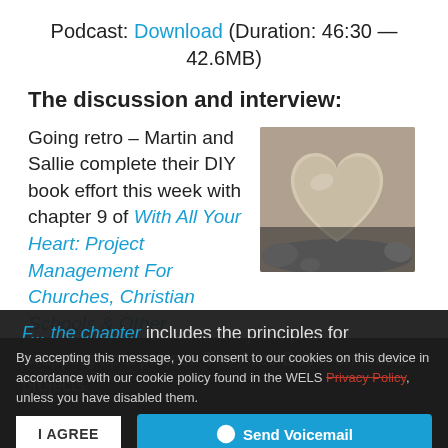Podcast: Download (Duration: 46:30 — 42.6MB)
The discussion and interview:
Going retro – Martin and Sallie complete their DIY book effort this week with chapter 9 of With All Your Heart: Project Management For Churches, Christian Schools & Other F... the chapter includes the principles for wrapping up a project. The Alice Butler on future projects.
[Figure (photo): Heart-shaped stone resting among other grey pebbles on a dark background]
By accepting this message, you consent to our cookies on this device in accordance with our cookie policy found in the WELS Privacy Policy, unless you have disabled them.